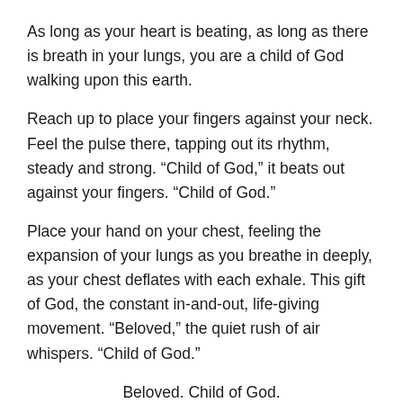As long as your heart is beating, as long as there is breath in your lungs, you are a child of God walking upon this earth.
Reach up to place your fingers against your neck. Feel the pulse there, tapping out its rhythm, steady and strong. “Child of God,” it beats out against your fingers. “Child of God.”
Place your hand on your chest, feeling the expansion of your lungs as you breathe in deeply, as your chest deflates with each exhale. This gift of God, the constant in-and-out, life-giving movement. “Beloved,” the quiet rush of air whispers. “Child of God.”
Beloved. Child of God.
That is who we are.